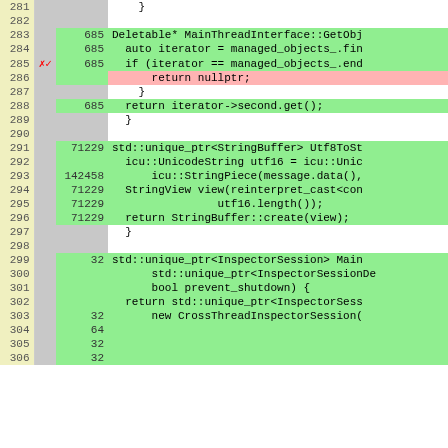[Figure (screenshot): Code coverage viewer showing C++ source lines 281-306 with line numbers, hit counts, and color-coded coverage (green=covered, pink=uncovered, white=not executed). Lines include MainThreadInterface methods: GetObj, Utf8ToSt, and InspectorSession creation.]